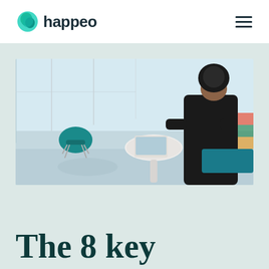happeo
[Figure (photo): Woman in black outfit sitting at a white round table working on a laptop in a modern office with large windows and a teal chair visible in the background]
The 8 key